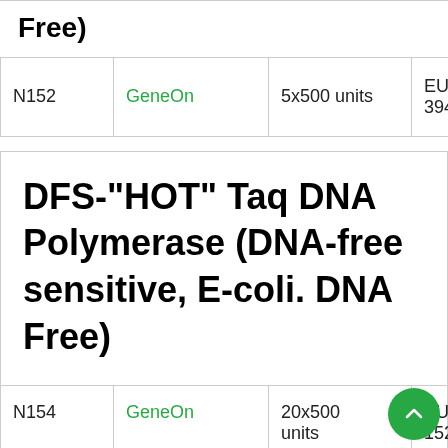Free)
|  |  |  |  |
| --- | --- | --- | --- |
| N152 | GeneOn | 5x500 units | EUR 394 |
DFS-"HOT" Taq DNA Polymerase (DNA-free sensitive, E-coli. DNA Free)
|  |  |  |  |
| --- | --- | --- | --- |
| N154 | GeneOn | 20x500 units | EUR 1525 |